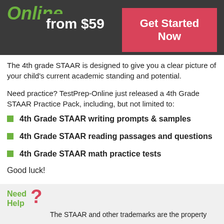Online
from $59
Get Started Now
The 4th grade STAAR is designed to give you a clear picture of your child's current academic standing and potential.
Need practice? TestPrep-Online just released a 4th Grade STAAR Practice Pack, including, but not limited to:
4th Grade STAAR writing prompts & samples
4th Grade STAAR reading passages and questions
4th Grade STAAR math practice tests
Good luck!
Need Help ?
The STAAR and other trademarks are the property